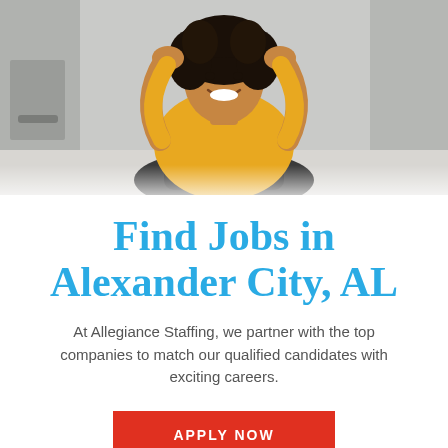[Figure (photo): A smiling woman with curly hair wearing a yellow top, sitting in a black office chair with arms raised behind her head, in a blurred office background.]
Find Jobs in Alexander City, AL
At Allegiance Staffing, we partner with the top companies to match our qualified candidates with exciting careers.
APPLY NOW